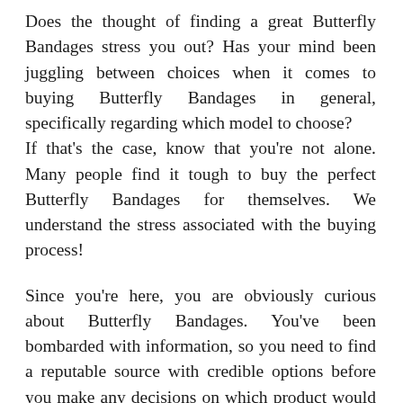Does the thought of finding a great Butterfly Bandages stress you out? Has your mind been juggling between choices when it comes to buying Butterfly Bandages in general, specifically regarding which model to choose?
If that's the case, know that you're not alone. Many people find it tough to buy the perfect Butterfly Bandages for themselves. We understand the stress associated with the buying process!
Since you're here, you are obviously curious about Butterfly Bandages. You've been bombarded with information, so you need to find a reputable source with credible options before you make any decisions on which product would be best for